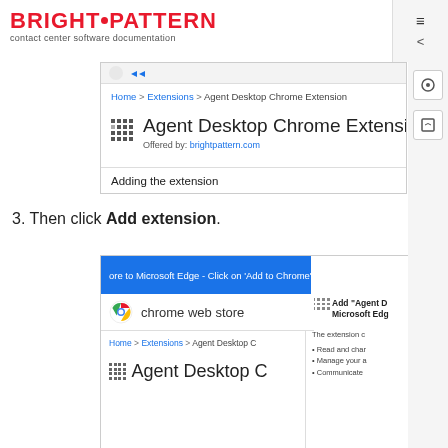BRIGHT PATTERN contact center software documentation
[Figure (screenshot): Chrome Web Store page for Agent Desktop Chrome Extension showing breadcrumb, extension title, and 'Adding the extension' section]
3. Then click Add extension.
[Figure (screenshot): Chrome Web Store screenshot showing blue banner 'ore to Microsoft Edge - Click on Add to Chrome', chrome web store logo, breadcrumb navigation, and Agent Desktop extension header with Add dialog on right]